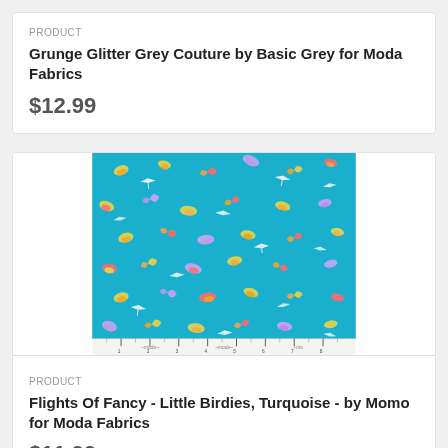PRODUCT
Grunge Glitter Grey Couture by Basic Grey for Moda Fabrics
$12.99
[Figure (photo): Turquoise fabric with colorful scattered bird and floral motifs on a bright blue background, with a ruler shown along the bottom edge branded with 'moda']
PRODUCT
Flights Of Fancy - Little Birdies, Turquoise - by Momo for Moda Fabrics
$11.99